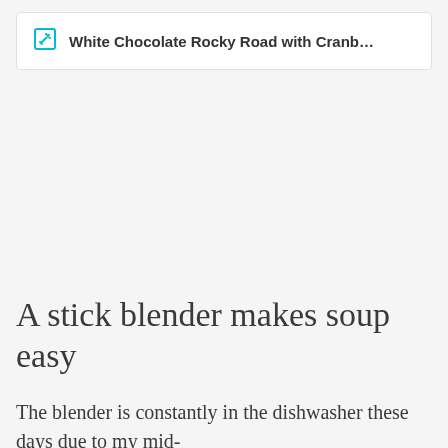White Chocolate Rocky Road with Cranb...
A stick blender makes soup easy
The blender is constantly in the dishwasher these days due to my mid-